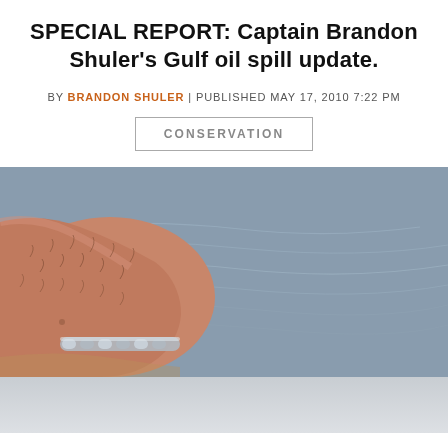SPECIAL REPORT: Captain Brandon Shuler's Gulf oil spill update.
BY BRANDON SHULER | PUBLISHED MAY 17, 2010 7:22 PM
CONSERVATION
[Figure (photo): Close-up photo of a person's hairy arm/wrist wearing a silver chain bracelet, with calm grey-blue water visible in the background. The lower portion of the image shows a lighter, slightly blurred continuation of the scene.]